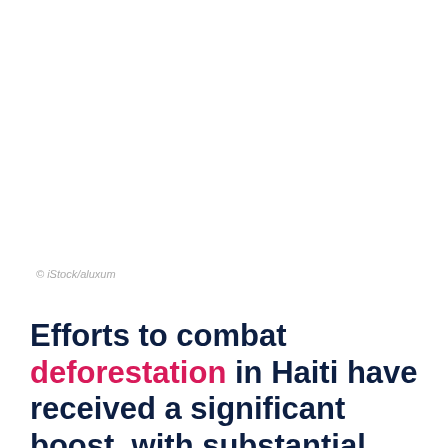© iStock/aluxum
Efforts to combat deforestation in Haiti have received a significant boost, with substantial expansion plans revealed for reforestation projects in the country.